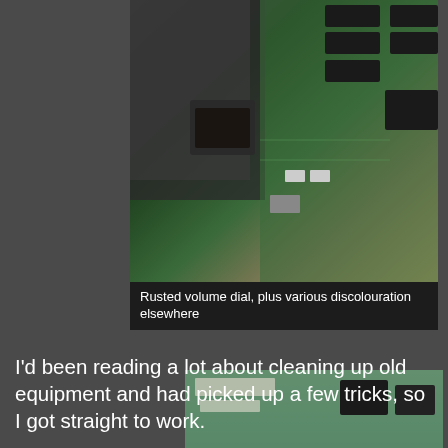[Figure (photo): Close-up photo of an old computer circuit board showing a rusted volume dial and various discolouration on the green PCB with chips and components visible]
Rusted volume dial, plus various discolouration elsewhere
[Figure (photo): Close-up photo of a computer expansion card's game port connector showing heavy rust and corrosion around the DB-15 port on the metal bracket]
Rust around the game port: at best, unattractive; at worst, indicative of damage
I'd been reading a lot about cleaning up old equipment and had picked up a few tricks, so I got straight to work.